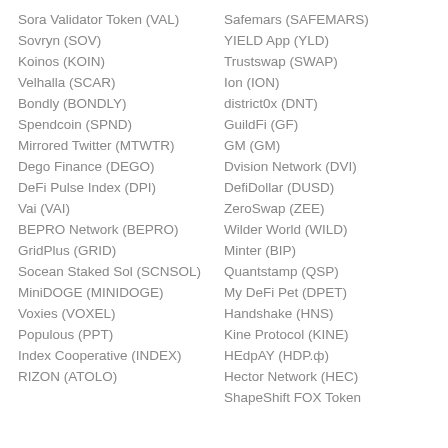Sora Validator Token (VAL)
Safemars (SAFEMARS)
Sovryn (SOV)
YIELD App (YLD)
Koinos (KOIN)
Trustswap (SWAP)
Velhalla (SCAR)
Ion (ION)
Bondly (BONDLY)
district0x (DNT)
Spendcoin (SPND)
GuildFi (GF)
Mirrored Twitter (MTWTR)
GM (GM)
Dego Finance (DEGO)
Dvision Network (DVI)
DeFi Pulse Index (DPI)
DefiDollar (DUSD)
Vai (VAI)
ZeroSwap (ZEE)
BEPRO Network (BEPRO)
Wilder World (WILD)
GridPlus (GRID)
Minter (BIP)
Socean Staked Sol (SCNSOL)
Quantstamp (QSP)
MiniDOGE (MINIDOGE)
My DeFi Pet (DPET)
Voxies (VOXEL)
Handshake (HNS)
Populous (PPT)
Kine Protocol (KINE)
Index Cooperative (INDEX)
HEdpAY (HDP.ф)
RIZON (ATOLO)
Hector Network (HEC)
ShapeShift FOX Token